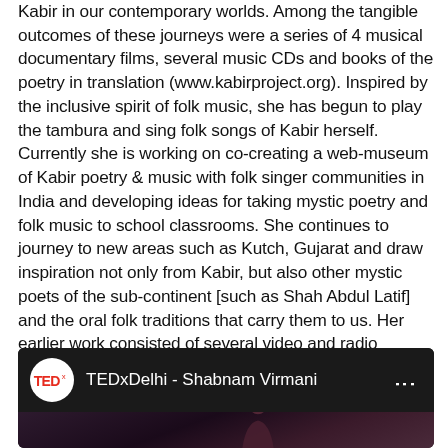Kabir in our contemporary worlds. Among the tangible outcomes of these journeys were a series of 4 musical documentary films, several music CDs and books of the poetry in translation (www.kabirproject.org). Inspired by the inclusive spirit of folk music, she has begun to play the tambura and sing folk songs of Kabir herself. Currently she is working on co-creating a web-museum of Kabir poetry & music with folk singer communities in India and developing ideas for taking mystic poetry and folk music to school classrooms. She continues to journey to new areas such as Kutch, Gujarat and draw inspiration not only from Kabir, but also other mystic poets of the sub-continent [such as Shah Abdul Latif] and the oral folk traditions that carry them to us. Her earlier work consisted of several video and radio programs created in close partnership with grassroots women's groups in India.
[Figure (screenshot): Embedded YouTube video thumbnail showing TEDxDelhi - Shabnam Virmani with TED logo and dark thumbnail with a person visible]